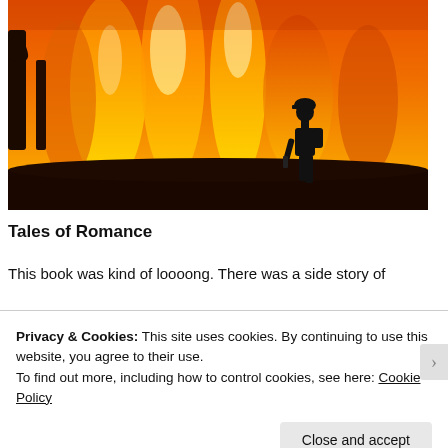[Figure (photo): A wildfire scene showing a silhouette of a firefighter with equipment standing against a massive wall of orange and yellow flames consuming trees in a forest.]
Tales of Romance
This book was kind of loooong. There was a side story of
Privacy & Cookies: This site uses cookies. By continuing to use this website, you agree to their use.
To find out more, including how to control cookies, see here: Cookie Policy